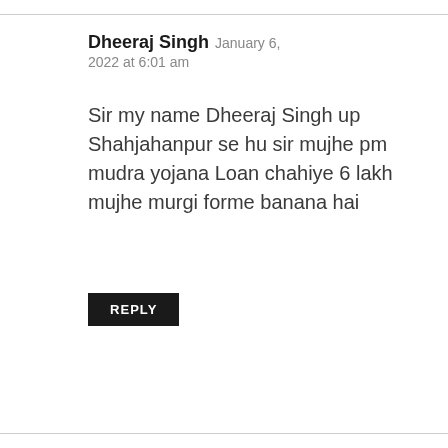Dheeraj Singh  January 6, 2022 at 6:01 am
Sir my name Dheeraj Singh up Shahjahanpur se hu sir mujhe pm mudra yojana Loan chahiye 6 lakh mujhe murgi forme banana hai
REPLY